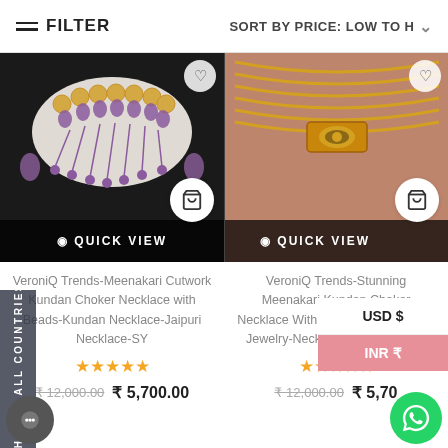FILTER   SORT BY PRICE: LOW TO H
[Figure (photo): VeroniQ Trends Meenakari Cutwork Kundan Choker Necklace with purple beads and gold elements on dark background with QUICK VIEW overlay]
[Figure (photo): VeroniQ Trends Stunning Meenakari Kundan Choker Necklace with gold beaded chains on mauve background with QUICK VIEW overlay]
VeroniQ Trends-Meenakari Cutwork Kundan Choker Necklace with Beads-Kundan Necklace-Jaipuri Necklace-SY
VeroniQ Trends-Stunning Meenakari Kundan Choker Necklace With Round Beads-Indian Jewelry-Necklace-Bollywood-SY
★★★★★
★★★★★
₹ 12,000.00  ₹ 5,700.00
₹ 12,000.00  ₹ 5,70...
SHIP TO ALL COUNTRIES
USD $
INR ₹